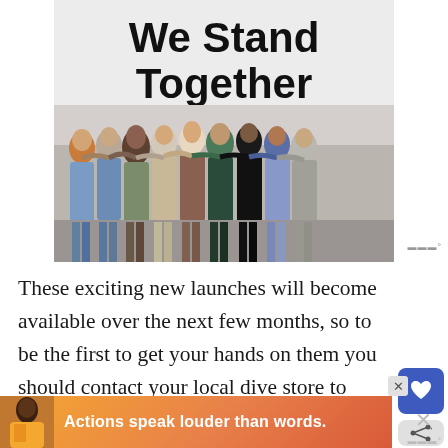[Figure (photo): Photo of a diverse group of people standing in a row with arms around each other (seen from behind), against a light wall that reads 'We Stand Together' in large bold text at the top.]
These exciting new launches will become available over the next few months, so to be the first to get your hands on them you should contact your local dive store to request the items you're looking for. You co check for your nearest Aqua Lung dealer via
[Figure (infographic): Advertisement banner: a person image on left with text 'Actions speak louder than words.' on an orange/gradient background. Close button (X) visible.]